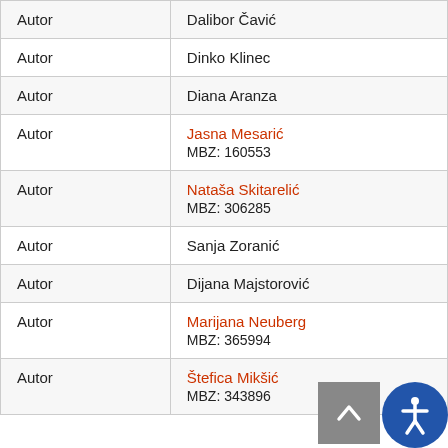|  |  |
| --- | --- |
| Autor | Dalibor Čavić |
| Autor | Dinko Klinec |
| Autor | Diana Aranza |
| Autor | Jasna Mesarić
MBZ: 160553 |
| Autor | Nataša Skitarelić
MBZ: 306285 |
| Autor | Sanja Zoranić |
| Autor | Dijana Majstorović |
| Autor | Marijana Neuberg
MBZ: 365994 |
| Autor | Štefica Mikšić
MBZ: 343896 |